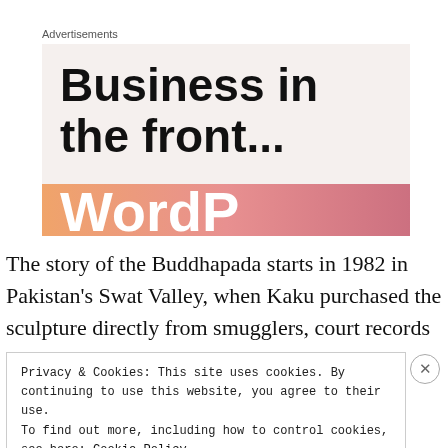Advertisements
[Figure (screenshot): Advertisement banner with text 'Business in the front...' and a colorful gradient bar at the bottom with partial text 'WordP...' visible]
The story of the Buddhapada starts in 1982 in Pakistan's Swat Valley, when Kaku purchased the sculpture directly from smugglers, court records state. “When I saw the Buddhapada
Privacy & Cookies: This site uses cookies. By continuing to use this website, you agree to their use.
To find out more, including how to control cookies, see here: Cookie Policy
Close and accept